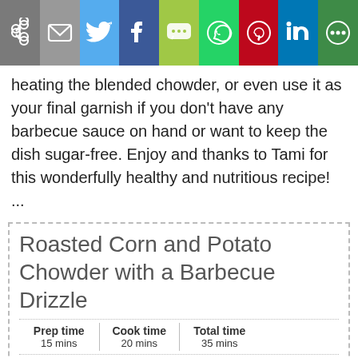[Figure (infographic): Social share bar with icons: link/copy, email, Twitter, Facebook, SMS, WhatsApp, Pinterest, LinkedIn, More]
heating the blended chowder, or even use it as your final garnish if you don't have any barbecue sauce on hand or want to keep the dish sugar-free. Enjoy and thanks to Tami for this wonderfully healthy and nutritious recipe! ...
Roasted Corn and Potato Chowder with a Barbecue Drizzle
| Prep time | Cook time | Total time |
| --- | --- | --- |
| 15 mins | 20 mins | 35 mins |
Recipe and photo by Tamasin Noyes, author of American Vegan Kitchen. Tami's cookbook covers everything from diner comfort foods to modern bistro fare, with a solid focus on flavor. She has two additional cookbooks in the pipeline, a vegan grilling book (Book Pub. Co.) and a vegan sandwich book (Fair Winds Press) with Celine Steen. For even more of her recipes, you can visit Tami at her blog ...